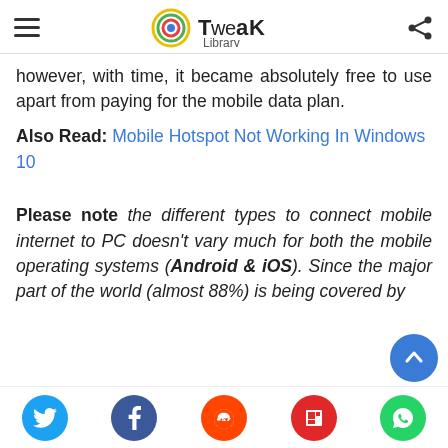Tweak Library
however, with time, it became absolutely free to use apart from paying for the mobile data plan.
Also Read: Mobile Hotspot Not Working In Windows 10
Please note the different types to connect mobile internet to PC doesn't vary much for both the mobile operating systems (Android & iOS). Since the major part of the world (almost 88%) is being covered by